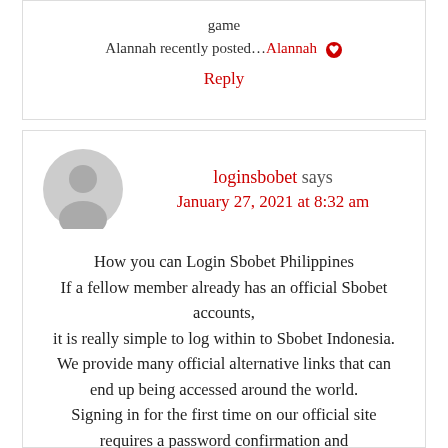game
Alannah recently posted…Alannah
Reply
loginsbobet says
January 27, 2021 at 8:32 am
How you can Login Sbobet Philippines
If a fellow member already has an official Sbobet accounts,
it is really simple to log within to Sbobet Indonesia.
We provide many official alternative links that can end up being accessed around the world.
Signing in for the first time on our official site requires a password confirmation and